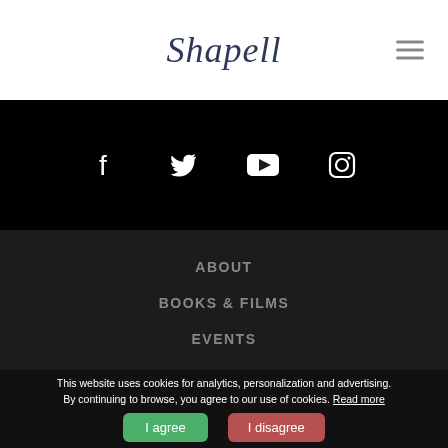Shapell
[Figure (infographic): Social media icons row: Facebook, Twitter, YouTube, Instagram on black background]
ABOUT
BOOKS & FILMS
EVENTS
LICENSE REQUEST
CONTACT US
This website uses cookies for analytics, personalization and advertising. By continuing to browse, you agree to our use of cookies. Read more
I agree | I disagree